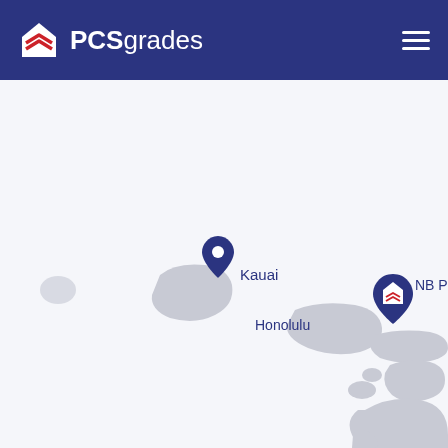PCSgrades
[Figure (map): Map of Hawaiian Islands showing two location pins: one labeled 'Kauai' on the island of Kauai, and one labeled 'NB Pearl Harbor' near Honolulu on Oahu. Islands are rendered in light gray on a light background, arranged diagonally from upper-left to lower-right representing the Hawaiian island chain.]